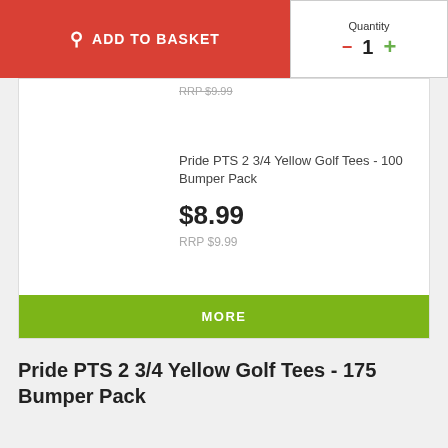ADD TO BASKET
Quantity 1
RRP $9.99
Pride PTS 2 3/4 Yellow Golf Tees - 100 Bumper Pack
$8.99
RRP $9.99
MORE
Pride PTS 2 3/4 Yellow Golf Tees - 175 Bumper Pack